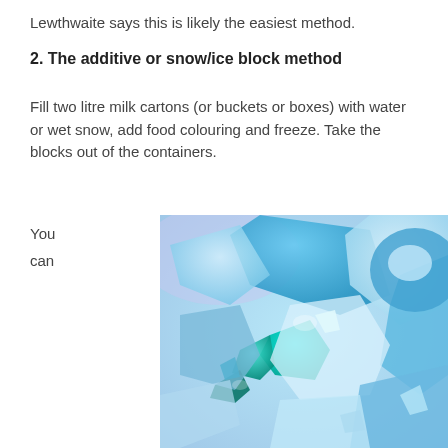Lewthwaite says this is likely the easiest method.
2. The additive or snow/ice block method
Fill two litre milk cartons (or buckets or boxes) with water or wet snow, add food colouring and freeze. Take the blocks out of the containers.
You
can
[Figure (photo): Close-up photograph of coloured ice blocks in various shades of blue and teal, piled together on a light surface.]